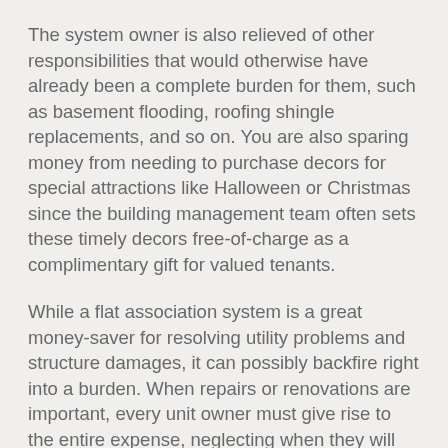The system owner is also relieved of other responsibilities that would otherwise have already been a complete burden for them, such as basement flooding, roofing shingle replacements, and so on. You are also sparing money from needing to purchase decors for special attractions like Halloween or Christmas since the building management team often sets these timely decors free-of-charge as a complimentary gift for valued tenants.
While a flat association system is a great money-saver for resolving utility problems and structure damages, it can possibly backfire right into a burden. When repairs or renovations are important, every unit owner must give rise to the entire expense, neglecting when they will use the luxury or not.